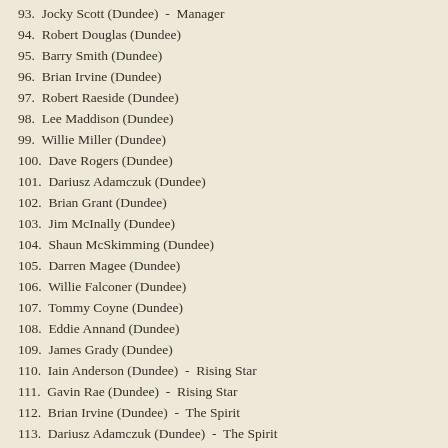93.  Jocky Scott (Dundee)  -  Manager
94.  Robert Douglas (Dundee)
95.  Barry Smith (Dundee)
96.  Brian Irvine (Dundee)
97.  Robert Raeside (Dundee)
98.  Lee Maddison (Dundee)
99.  Willie Miller (Dundee)
100.  Dave Rogers (Dundee)
101.  Dariusz Adamczuk (Dundee)
102.  Brian Grant (Dundee)
103.  Jim McInally (Dundee)
104.  Shaun McSkimming (Dundee)
105.  Darren Magee (Dundee)
106.  Willie Falconer (Dundee)
107.  Tommy Coyne (Dundee)
108.  Eddie Annand (Dundee)
109.  James Grady (Dundee)
110.  Iain Anderson (Dundee)  -  Rising Star
111.  Gavin Rae (Dundee)  -  Rising Star
112.  Brian Irvine (Dundee)  -  The Spirit
113.  Dariusz Adamczuk (Dundee)  -  The Spirit
114.  Jim McInally (Dundee)  -  The Playmakers